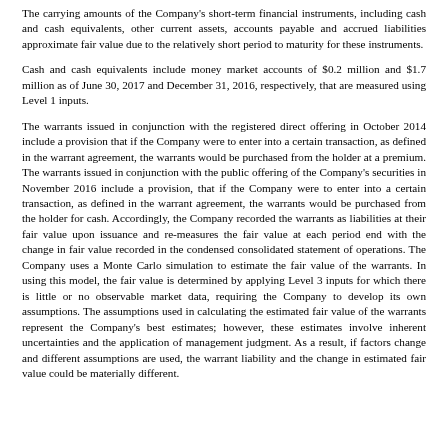The carrying amounts of the Company's short-term financial instruments, including cash and cash equivalents, other current assets, accounts payable and accrued liabilities approximate fair value due to the relatively short period to maturity for these instruments.
Cash and cash equivalents include money market accounts of $0.2 million and $1.7 million as of June 30, 2017 and December 31, 2016, respectively, that are measured using Level 1 inputs.
The warrants issued in conjunction with the registered direct offering in October 2014 include a provision that if the Company were to enter into a certain transaction, as defined in the warrant agreement, the warrants would be purchased from the holder at a premium. The warrants issued in conjunction with the public offering of the Company's securities in November 2016 include a provision, that if the Company were to enter into a certain transaction, as defined in the warrant agreement, the warrants would be purchased from the holder for cash. Accordingly, the Company recorded the warrants as liabilities at their fair value upon issuance and re-measures the fair value at each period end with the change in fair value recorded in the condensed consolidated statement of operations. The Company uses a Monte Carlo simulation to estimate the fair value of the warrants. In using this model, the fair value is determined by applying Level 3 inputs for which there is little or no observable market data, requiring the Company to develop its own assumptions. The assumptions used in calculating the estimated fair value of the warrants represent the Company's best estimates; however, these estimates involve inherent uncertainties and the application of management judgment. As a result, if factors change and different assumptions are used, the warrant liability and the change in estimated fair value could be materially different.